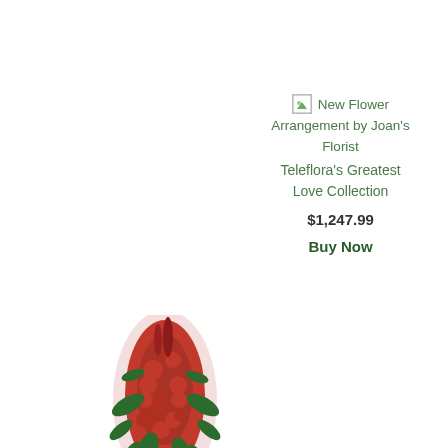[Figure (photo): Small broken image icon placeholder for flower arrangement photo, with alt text 'New Flower Arrangement by Joan's Florist']
New Flower Arrangement by Joan's Florist
Teleflora's Greatest Love Collection
$1,247.99
Buy Now
[Figure (photo): A large funeral/sympathy standing spray flower arrangement with red flowers (roses, gladioli) and greenery on a white easel stand]